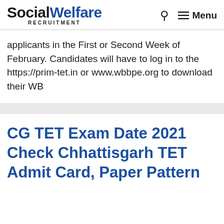Social Welfare RECRUITMENT
applicants in the First or Second Week of February. Candidates will have to log in to the https://prim-tet.in or www.wbbpe.org to download their WB
CG TET Exam Date 2021 Check Chhattisgarh TET Admit Card, Paper Pattern